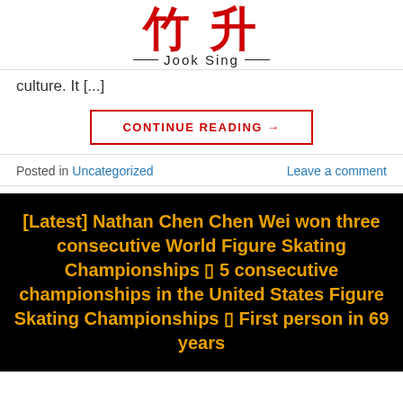竹升 Jook Sing
culture. It [...]
CONTINUE READING →
Posted in Uncategorized    Leave a comment
[Figure (other): Black background image with bold yellow/orange text: [Latest] Nathan Chen Chen Wei won three consecutive World Figure Skating Championships □ 5 consecutive championships in the United States Figure Skating Championships □ First person in 69 years]